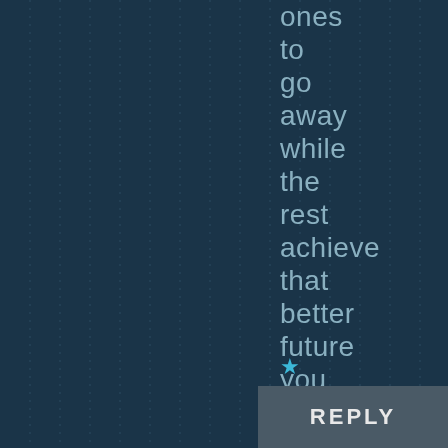ones to go away while the rest achieve that better future you speak of.
★ Like
REPLY